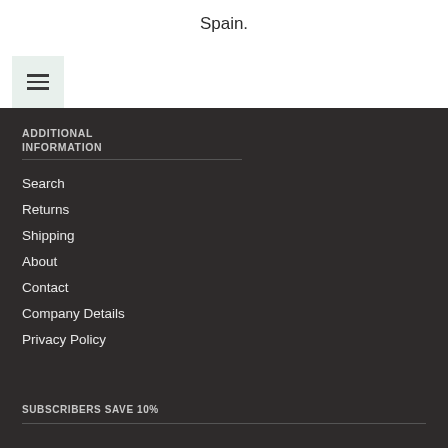Spain.
[Figure (other): Hamburger menu button icon on light green background]
ADDITIONAL INFORMATION
Search
Returns
Shipping
About
Contact
Company Details
Privacy Policy
SUBSCRIBERS SAVE 10%